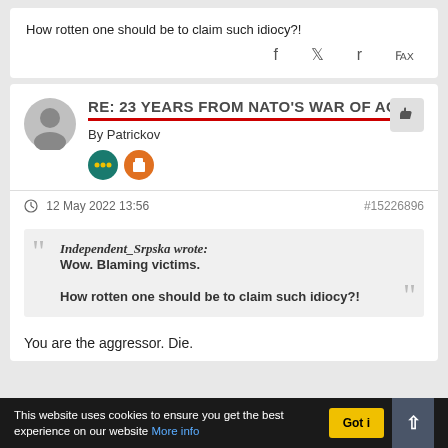How rotten one should be to claim such idiocy?!
RE: 23 YEARS FROM NATO'S WAR OF AGO
By Patrickov
- 12 May 2022 13:56   #15226896
Independent_Srpska wrote: Wow. Blaming victims. How rotten one should be to claim such idiocy?!
You are the aggressor. Die.
This website uses cookies to ensure you get the best experience on our website More info